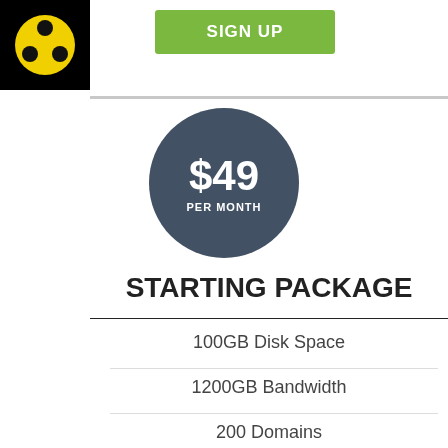[Figure (logo): Black square logo with yellow circle containing three black dots arranged in triangle]
SIGN UP
$49 PER MONTH
STARTING PACKAGE
100GB Disk Space
1200GB Bandwidth
200 Domains